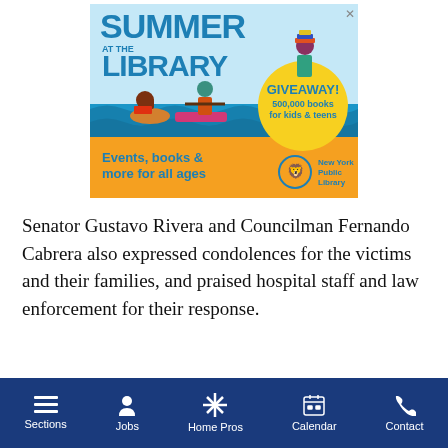[Figure (illustration): New York Public Library Summer at the Library advertisement. Light blue background with illustrated characters surfing on a book, reading on a float, and roller-skating with books. Yellow circle with 'GIVEAWAY! 500,000 books for kids & teens'. Orange bottom section with text 'Events, books & more for all ages' and NYPL lion logo.]
Senator Gustavo Rivera and Councilman Fernando Cabrera also expressed condolences for the victims and their families, and praised hospital staff and law enforcement for their response.
Sections  Jobs  Home Pros  Calendar  Contact